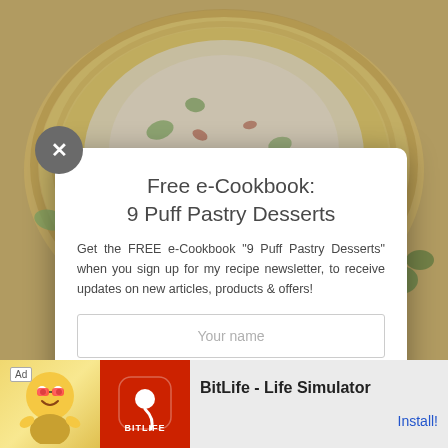[Figure (photo): Background food photo showing a swirled puff pastry with cream cheese, bacon, and herbs filling, viewed from above on a floured surface]
Free e-Cookbook:
9 Puff Pastry Desserts
Get the FREE e-Cookbook "9 Puff Pastry Desserts" when you sign up for my recipe newsletter, to receive updates on new articles, products & offers!
Your name
Your email address
Subscribe!
[Figure (screenshot): Mobile advertisement banner for BitLife - Life Simulator app showing cartoon character and red app icon with sperm emoji logo]